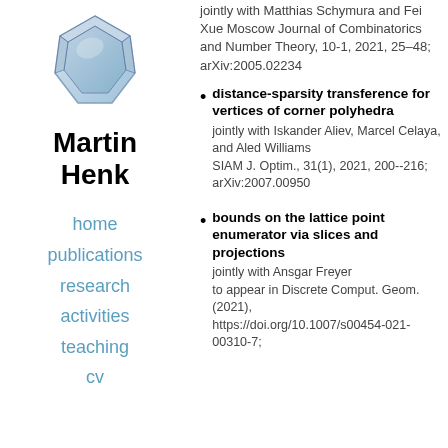[Figure (illustration): Blue gem/polyhedron logo for Martin Henk's academic website]
Martin Henk
home
publications
research
activities
teaching
cv
jointly with Matthias Schymura and Fei Xue Moscow Journal of Combinatorics and Number Theory, 10-1, 2021, 25–48; arXiv:2005.02234
distance-sparsity transference for vertices of corner polyhedra
jointly with Iskander Aliev, Marcel Celaya, and Aled Williams
SIAM J. Optim., 31(1), 2021, 200--216; arXiv:2007.00950
bounds on the lattice point enumerator via slices and projections
jointly with Ansgar Freyer
to appear in Discrete Comput. Geom. (2021), https://doi.org/10.1007/s00454-021-00310-7;